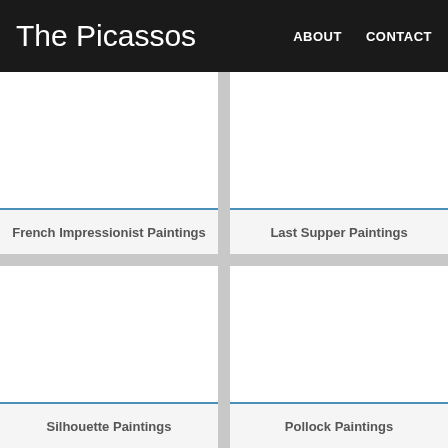The Picassos | ABOUT | CONTACT
The Picassos
French Impressionist Paintings
Last Supper Paintings
Silhouette Paintings
Pollock Paintings